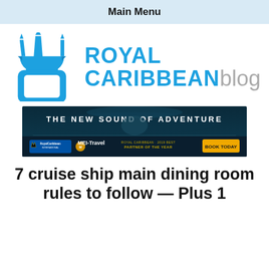Main Menu
[Figure (logo): Royal Caribbean Blog logo: blue trident crown above a chat bubble icon on the left, with 'ROYAL CARIBBEAN' in bold blue and 'blog' in gray on the right]
[Figure (photo): Advertisement banner: dark ocean background with text 'THE NEW SOUND OF ADVENTURE', Royal Caribbean International logo, MEI-Travel logo, 'ROYAL CARIBBEAN 2019 BEST PARTNER OF THE YEAR', and a yellow 'BOOK TODAY' button]
7 cruise ship main dining room rules to follow — Plus 1